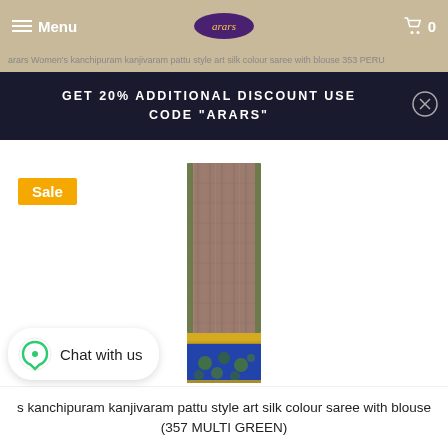Menu | arars logo | 0
arars Women's kanchipuram kanjivaram pattu style art silk colour saree with blouse 353 PERU
GET 20% ADDITIONAL DISCOUNT USE CODE "ARARS"
Sale
[Figure (photo): Folded art silk saree in brown/mauve colour with green border and blue pallu with floral pattern and gold zari border stripe]
Chat with us
s kanchipuram kanjivaram pattu style art silk colour saree with blouse (357 MULTI GREEN)